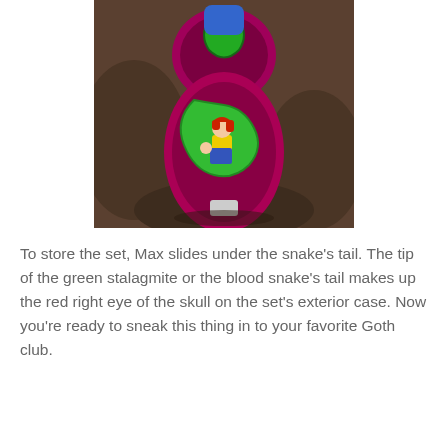[Figure (photo): A colorful novelty toy/figurine featuring a bright green snake coiled around a purple/magenta oval case with a small character (red-haired girl in blue overalls) inside; photographed on a dark brown surface.]
To store the set, Max slides under the snake's tail. The tip of the green stalagmite or the blood snake's tail makes up the red right eye of the skull on the set's exterior case. Now you're ready to sneak this thing in to your favorite Goth club.